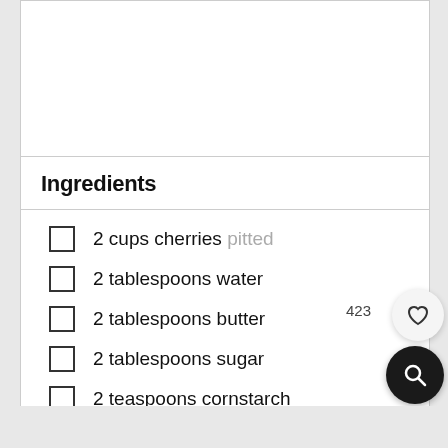Ingredients
2 cups cherries pitted
2 tablespoons water
2 tablespoons butter
2 tablespoons sugar
2 teaspoons cornstarch
423